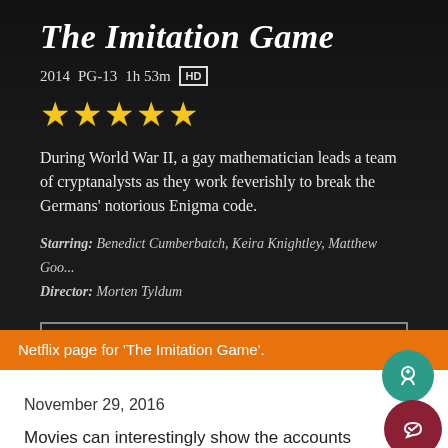[Figure (screenshot): Netflix movie page screenshot for 'The Imitation Game' showing title, metadata (2014, PG-13, 1h 53m, HD), four star rating, movie description, cast/director info, and a '+ MY LIST' button on dark background]
Netflix page for 'The Imitation Game'.
November 29, 2016
Movies can interestingly show the accounts of the past and blow us into the future or pop us right into a fictional